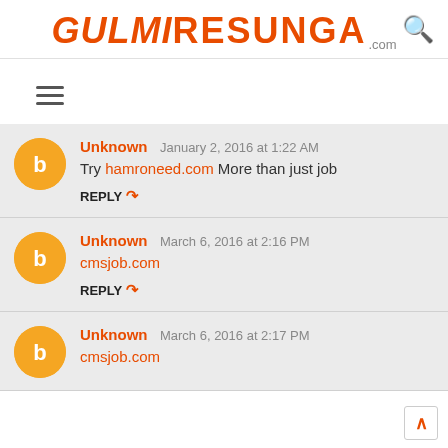GULMIRESUNGA.com
Unknown   January 2, 2016 at 1:22 AM
Try hamroneed.com More than just job
REPLY
Unknown   March 6, 2016 at 2:16 PM
cmsjob.com
REPLY
Unknown   March 6, 2016 at 2:17 PM
cmsjob.com